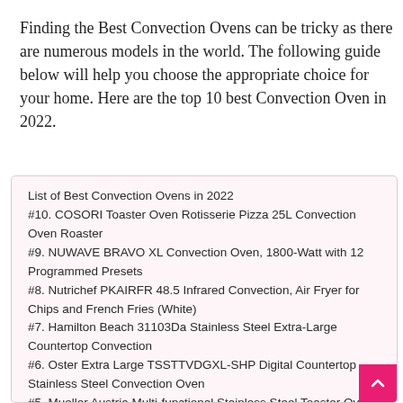Finding the Best Convection Ovens can be tricky as there are numerous models in the world. The following guide below will help you choose the appropriate choice for your home. Here are the top 10 best Convection Oven in 2022.
List of Best Convection Ovens in 2022
#10. COSORI Toaster Oven Rotisserie Pizza 25L Convection Oven Roaster
#9. NUWAVE BRAVO XL Convection Oven, 1800-Watt with 12 Programmed Presets
#8. Nutrichef PKAIRFR 48.5 Infrared Convection, Air Fryer for Chips and French Fries (White)
#7. Hamilton Beach 31103Da Stainless Steel Extra-Large Countertop Convection
#6. Oster Extra Large TSSTTVDGXL-SHP Digital Countertop Stainless Steel Convection Oven
#5. Mueller Austria Multi-functional Stainless Steel Toaster Oven with Timer
#4. BLACK+DECKER TO3250XSB 8-Slice Convection Countertop Extra